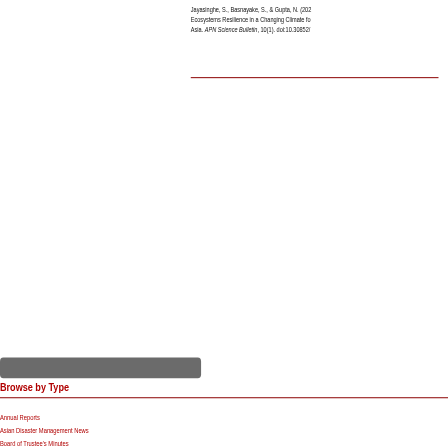Jayasinghe, S., Basnayake, S., & Gupta, N. (202... Ecosystems Resilience in a Changing Climate fo... Asia. APN Science Bulletin, 10(1). doi:10.30852/...
Browse by Type
Annual Reports
Asian Disaster Management News
Board of Trustee's Minutes
Brochures, Factsheets and Posters
Conference and Workshop Proceedings